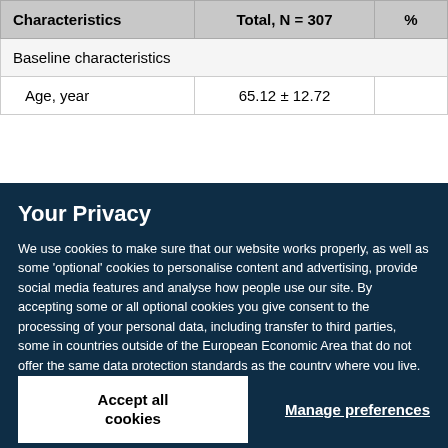| Characteristics | Total, N = 307 | % |
| --- | --- | --- |
| Baseline characteristics |  |  |
| Age, year | 65.12 ± 12.72 |  |
Your Privacy
We use cookies to make sure that our website works properly, as well as some 'optional' cookies to personalise content and advertising, provide social media features and analyse how people use our site. By accepting some or all optional cookies you give consent to the processing of your personal data, including transfer to third parties, some in countries outside of the European Economic Area that do not offer the same data protection standards as the country where you live. You can decide which optional cookies to accept by clicking on 'Manage Settings', where you can also find more information about how your personal data is processed. Further information can be found in our privacy policy.
Accept all cookies
Manage preferences